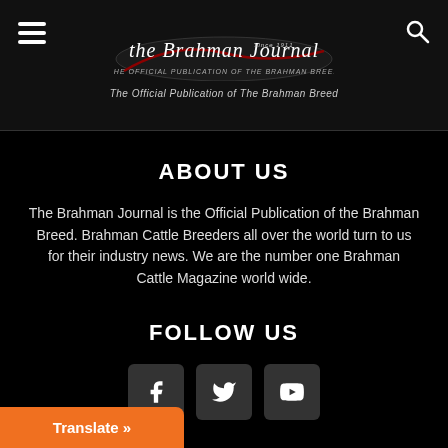[Figure (logo): The Brahman Journal logo with script text and red underline, tagline: The Official Publication of The Brahman Breed]
ABOUT US
The Brahman Journal is the Official Publication of the Brahman Breed. Brahman Cattle Breeders all over the world turn to us for their industry news. We are the number one Brahman Cattle Magazine world wide.
FOLLOW US
[Figure (infographic): Three social media icon buttons: Facebook (f), Twitter (bird), YouTube (play button)]
Translate »